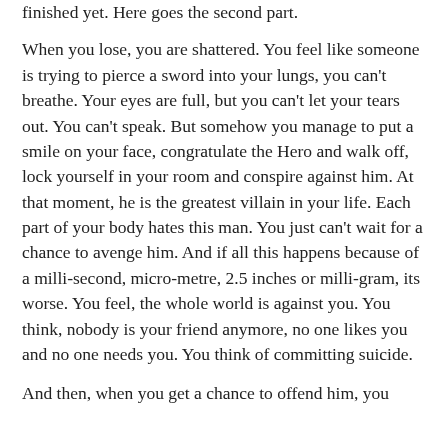finished yet. Here goes the second part.
When you lose, you are shattered. You feel like someone is trying to pierce a sword into your lungs, you can't breathe. Your eyes are full, but you can't let your tears out. You can't speak. But somehow you manage to put a smile on your face, congratulate the Hero and walk off, lock yourself in your room and conspire against him. At that moment, he is the greatest villain in your life. Each part of your body hates this man. You just can't wait for a chance to avenge him. And if all this happens because of a milli-second, micro-metre, 2.5 inches or milli-gram, its worse. You feel, the whole world is against you. You think, nobody is your friend anymore, no one likes you and no one needs you. You think of committing suicide.
And then, when you get a chance to offend him, you